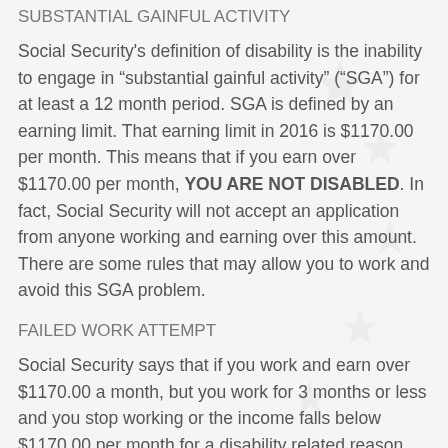SUBSTANTIAL GAINFUL ACTIVITY
Social Security's definition of disability is the inability to engage in "substantial gainful activity" ("SGA") for at least a 12 month period. SGA is defined by an earning limit. That earning limit in 2016 is $1170.00 per month. This means that if you earn over $1170.00 per month, YOU ARE NOT DISABLED. In fact, Social Security will not accept an application from anyone working and earning over this amount. There are some rules that may allow you to work and avoid this SGA problem.
FAILED WORK ATTEMPT
Social Security says that if you work and earn over $1170.00 a month, but you work for 3 months or less and you stop working or the income falls below $1170.00 per month for a disability related reason, then Social Security considers this a